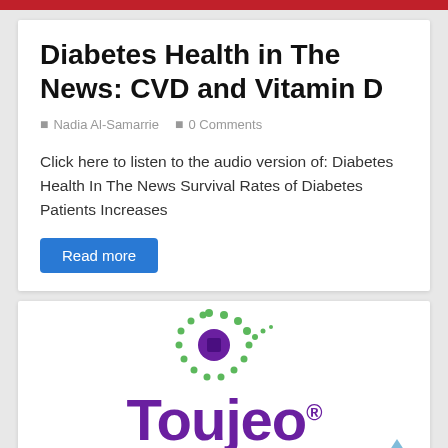Diabetes Health in The News: CVD and Vitamin D
Nadia Al-Samarrie   0 Comments
Click here to listen to the audio version of: Diabetes Health In The News Survival Rates of Diabetes Patients Increases
Read more
[Figure (logo): Toujeo insulin glargine 300U/ml advertisement logo with a green dotted circular design and purple Toujeo wordmark]